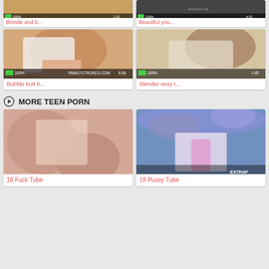[Figure (screenshot): Video thumbnail: Blonde and b...]
Blonde and b...
[Figure (screenshot): Video thumbnail: Beautiful you...]
Beautiful you...
[Figure (screenshot): Video thumbnail with overlay showing 100%, 8:06, FAMILYSTROKES.COM: Bubble butt b...]
Bubble butt b...
[Figure (screenshot): Video thumbnail with overlay showing 100%, 1:45: Slender sexy t...]
Slender sexy t...
MORE TEEN PORN
[Figure (screenshot): Video thumbnail: 18 Fuck Tube]
18 Fuck Tube
[Figure (screenshot): Video thumbnail with EXTRAP watermark: 18 Pussy Tube]
18 Pussy Tube